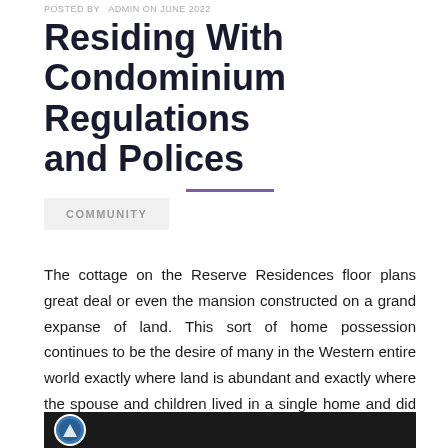POSTED BY ADMIN ON JUNE 2022
Residing With Condominium Regulations and Polices
COMMUNITY
The cottage on the Reserve Residences floor plans great deal or even the mansion constructed on a grand expanse of land. This sort of home possession continues to be the desire of many in the Western entire world exactly where land is abundant and exactly where the spouse and children lived in a single home and did not produce other qualities for vacations, recreation and retirement in Reserve Residences floor plans.
[Figure (photo): Black thumbnail image with a circular logo at the left side, beginning of a video or image block]